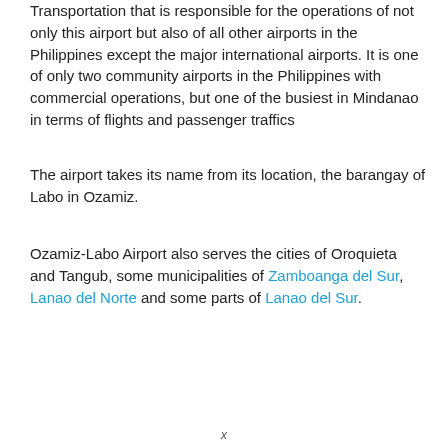Transportation that is responsible for the operations of not only this airport but also of all other airports in the Philippines except the major international airports. It is one of only two community airports in the Philippines with commercial operations, but one of the busiest in Mindanao in terms of flights and passenger traffics
The airport takes its name from its location, the barangay of Labo in Ozamiz.
Ozamiz-Labo Airport also serves the cities of Oroquieta and Tangub, some municipalities of Zamboanga del Sur, Lanao del Norte and some parts of Lanao del Sur.
x